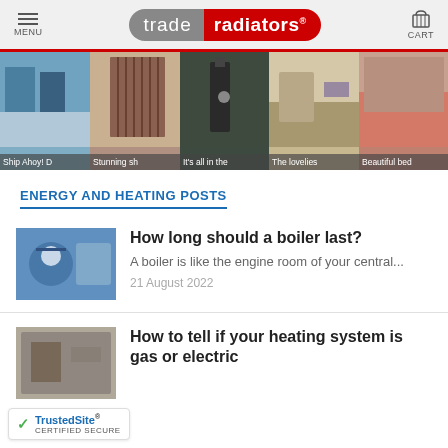trade radiators — MENU | CART
[Figure (photo): Horizontal strip of 5 interior/home decoration photos showing rooms with radiators, with captions: Ship Ahoy!, Stunning sh..., It's all in the, The lovelies, Beautiful bed]
ENERGY AND HEATING POSTS
[Figure (photo): Thumbnail of a person in blue hat adjusting a boiler/heating unit]
How long should a boiler last?
A boiler is like the engine room of your central...
21 August 2022
[Figure (photo): Thumbnail of a heating system or boiler component]
How to tell if your heating system is gas or electric